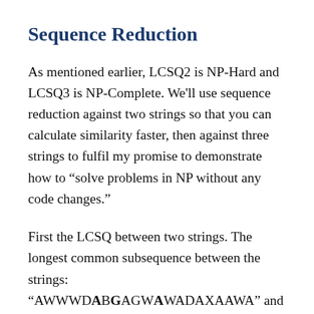Sequence Reduction
As mentioned earlier, LCSQ2 is NP-Hard and LCSQ3 is NP-Complete. We'll use sequence reduction against two strings so that you can calculate similarity faster, then against three strings to fulfil my promise to demonstrate how to “solve problems in NP without any code changes.”
First the LCSQ between two strings. The longest common subsequence between the strings: “AWWWDABGAGWAWADADAXAAWA” and “BBAXZZXXXBZBGZGZZZZGGGZ” is ABGG. I colored the first instance of ABGG in red for